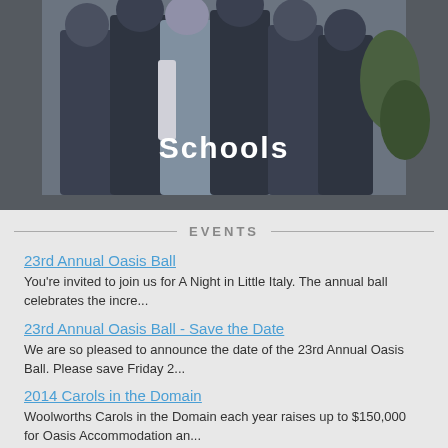[Figure (photo): Group of students/people wearing dark uniforms, photo banner with 'Schools' text overlay]
Schools
EVENTS
23rd Annual Oasis Ball
You're invited to join us for A Night in Little Italy. The annual ball celebrates the incre...
23rd Annual Oasis Ball - Save the Date
We are so pleased to announce the date of the 23rd Annual Oasis Ball. Please save Friday 2...
2014 Carols in the Domain
Woolworths Carols in the Domain each year raises up to $150,000 for Oasis Accommodation an...
Small Steps, Big Journeys: Oasis to India